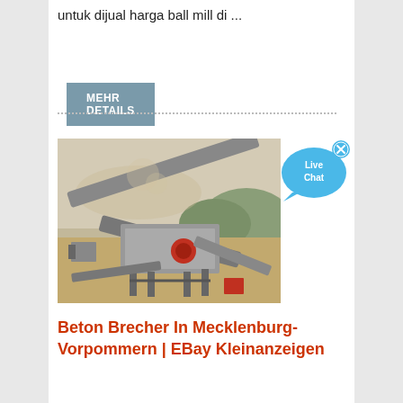untuk dijual harga ball mill di ...
MEHR DETAILS
[Figure (photo): Industrial stone crushing/screening machine on a construction site with mountains and trees in the background]
[Figure (illustration): Live Chat button - blue speech bubble with 'Live Chat' text and a small X close button]
Beton Brecher In Mecklenburg-Vorpommern | EBay Kleinanzeigen